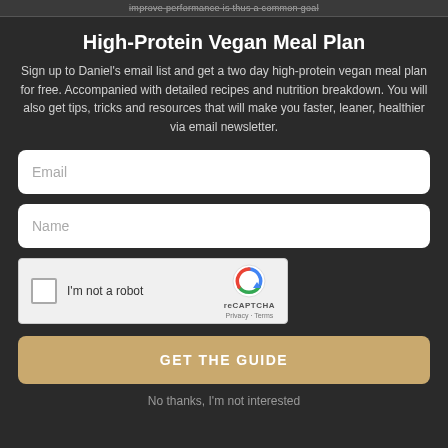improve performance is thus a common goal
High-Protein Vegan Meal Plan
Sign up to Daniel's email list and get a two day high-protein vegan meal plan for free. Accompanied with detailed recipes and nutrition breakdown. You will also get tips, tricks and resources that will make you faster, leaner, healthier via email newsletter.
Email
Name
[Figure (other): reCAPTCHA widget with checkbox labeled 'I'm not a robot' and reCAPTCHA logo with Privacy and Terms links]
GET THE GUIDE
No thanks, I'm not interested